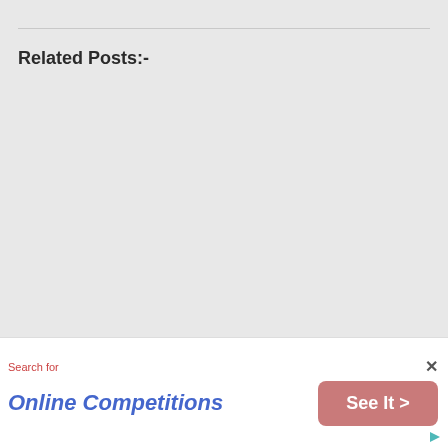Related Posts:-
Search for
Online Competitions
See It >